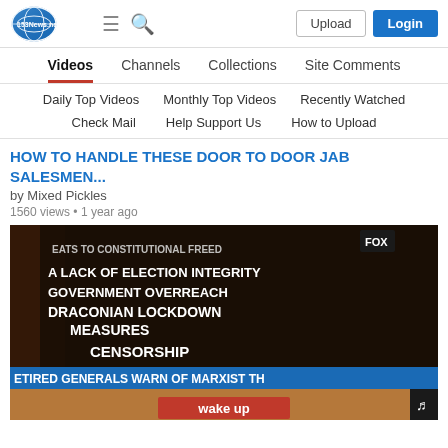153News.net — Upload | Login
Videos | Channels | Collections | Site Comments
Daily Top Videos | Monthly Top Videos | Recently Watched
Check Mail | Help Support Us | How to Upload
HOW TO HANDLE THESE DOOR TO DOOR JAB SALESMEN...
by Mixed Pickles
1560 views • 1 year ago
[Figure (screenshot): Video thumbnail showing news graphics with text: 'THREATS TO CONSTITUTIONAL FREEDOM', 'A LACK OF ELECTION INTEGRITY', 'GOVERNMENT OVERREACH', 'DRACONIAN LOCKDOWN MEASURES', 'CENSORSHIP', 'RETIRED GENERALS WARN OF MARXIST TH...', and 'wake up' in red banner at bottom.]